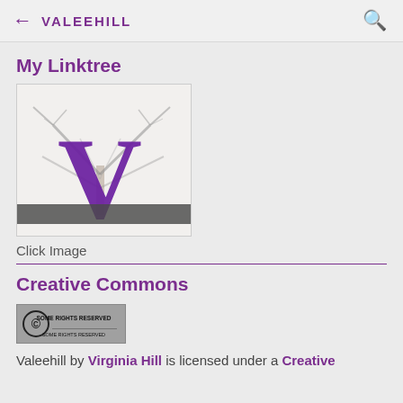← VALEEHILL
My Linktree
[Figure (illustration): Valeehill logo: a large purple letter V overlaid on a black-and-white photo of a bare winter tree, with a dark horizontal bar near the bottom]
Click Image
Creative Commons
[Figure (logo): Creative Commons 'Some Rights Reserved' badge — grey rectangle with CC circle logo and text 'SOME RIGHTS RESERVED']
Valeehill by Virginia Hill is licensed under a Creative